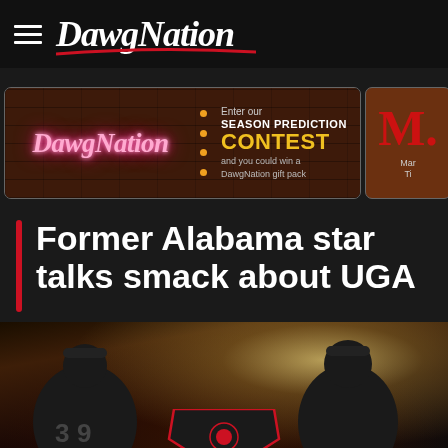DawgNation
[Figure (screenshot): DawgNation Season Prediction Contest advertisement banner with neon DawgNation logo on brick background, dots, contest text, and a second ad partially visible]
Former Alabama star talks smack about UGA
[Figure (photo): Two football players in Georgia Bulldogs uniforms holding a national championship trophy/sign, with bright light rays in the background]